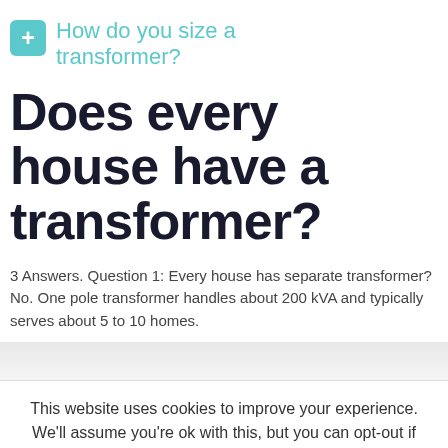How do you size a transformer?
Does every house have a transformer?
3 Answers. Question 1: Every house has separate transformer? No. One pole transformer handles about 200 kVA and typically serves about 5 to 10 homes.
This website uses cookies to improve your experience. We'll assume you're ok with this, but you can opt-out if you wish.
Accept  Read More